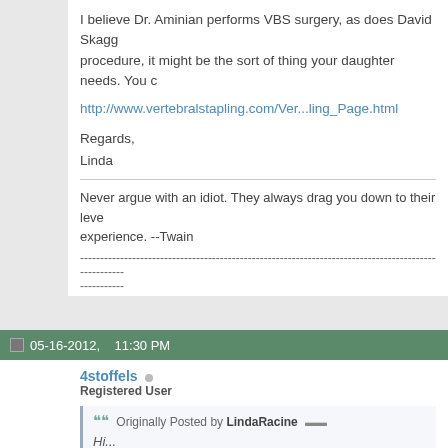I believe Dr. Aminian performs VBS surgery, as does David Skaggs procedure, it might be the sort of thing your daughter needs. You c
http://www.vertebralstapling.com/Ver...ling_Page.html
Regards,
Linda
Never argue with an idiot. They always drag you down to their level and beat you with experience. --Twain
Surgery 2/10/93 A/P fusion T4-L3
Surgery 1/20/11 A/P fusion L2-sacrum w/pelvic fixation
05-16-2012,   11:30 PM
4stoffels
Registered User
Originally Posted by LindaRacine
Hi...